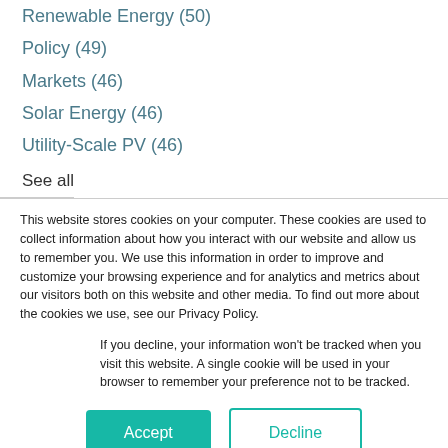Renewable Energy (50)
Policy (49)
Markets (46)
Solar Energy (46)
Utility-Scale PV (46)
See all
This website stores cookies on your computer. These cookies are used to collect information about how you interact with our website and allow us to remember you. We use this information in order to improve and customize your browsing experience and for analytics and metrics about our visitors both on this website and other media. To find out more about the cookies we use, see our Privacy Policy.
If you decline, your information won't be tracked when you visit this website. A single cookie will be used in your browser to remember your preference not to be tracked.
Accept
Decline